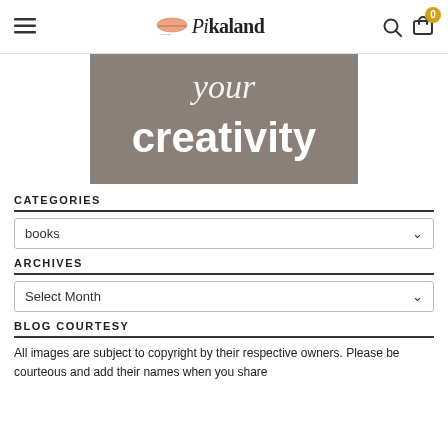Pikaland — navigation header with hamburger menu, logo, search icon, and cart (0)
[Figure (illustration): Gray/brown textured banner image with italic text 'your' and bold white text 'creativity']
CATEGORIES
books (dropdown)
ARCHIVES
Select Month (dropdown)
BLOG COURTESY
All images are subject to copyright by their respective owners. Please be courteous and add their names when you share